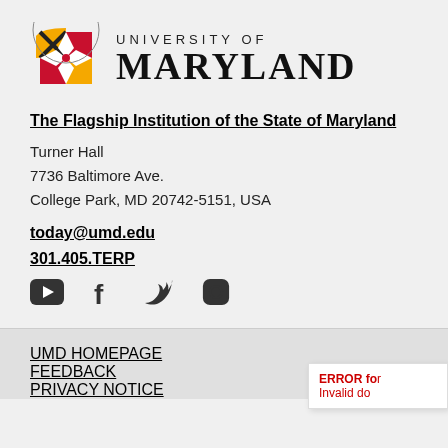[Figure (logo): University of Maryland logo with shield and text UNIVERSITY OF MARYLAND]
The Flagship Institution of the State of Maryland
Turner Hall
7736 Baltimore Ave.
College Park, MD 20742-5151, USA
today@umd.edu
301.405.TERP
[Figure (other): Social media icons: YouTube, Facebook, Twitter, Instagram]
UMD HOMEPAGE
FEEDBACK
PRIVACY NOTICE
ERROR for Invalid do...